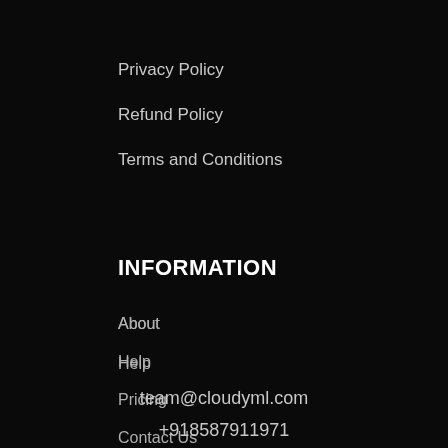Privacy Policy
Refund Policy
Terms and Conditions
INFORMATION
About
Help
Pricing
Contact Us
team@cloudyml.com
+918587911971